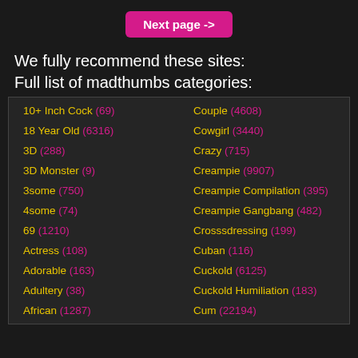Next page ->
We fully recommend these sites:
Full list of madthumbs categories:
10+ Inch Cock (69)
18 Year Old (6316)
3D (288)
3D Monster (9)
3some (750)
4some (74)
69 (1210)
Actress (108)
Adorable (163)
Adultery (38)
African (1287)
Couple (4608)
Cowgirl (3440)
Crazy (715)
Creampie (9907)
Creampie Compilation (395)
Creampie Gangbang (482)
Crosssdressing (199)
Cuban (116)
Cuckold (6125)
Cuckold Humiliation (183)
Cum (22194)